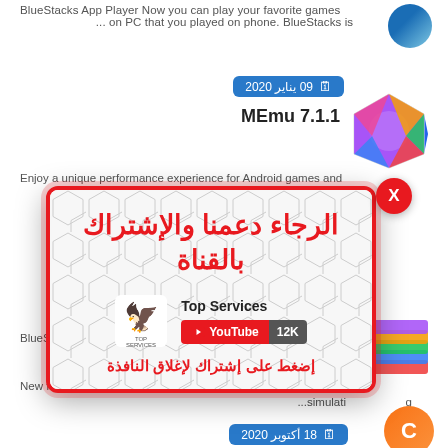BlueStacks App Player Now you can play your favorite games ... on PC that you played on phone. BlueStacks is
09 يناير 2020 MEmu 7.1.1
Enjoy a unique performance experience for Android games and
[Figure (screenshot): Popup overlay with Arabic text: الرجاء دعمنا والإشتراك بالقناة, Top Services YouTube channel logo with 12K subscribers, and Arabic footer text: إضغط على إشتراك لإغلاق النافذة]
BlueS ... acks i
New features prompt users to try BlueStacks ' performance in
...simulati
18 أكتوبر 2020